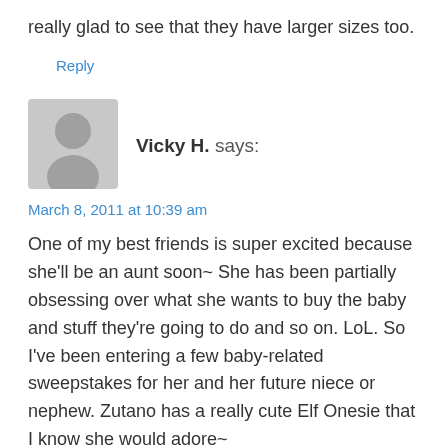really glad to see that they have larger sizes too.
Reply
[Figure (illustration): Gray silhouette avatar icon of a person]
Vicky H. says:
March 8, 2011 at 10:39 am
One of my best friends is super excited because she'll be an aunt soon~ She has been partially obsessing over what she wants to buy the baby and stuff they're going to do and so on. LoL. So I've been entering a few baby-related sweepstakes for her and her future niece or nephew. Zutano has a really cute Elf Onesie that I know she would adore~
Reply